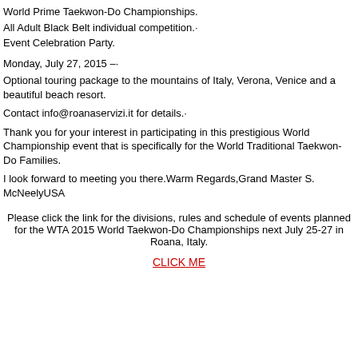World Prime Taekwon-Do Championships.
All Adult Black Belt individual competition.·
Event Celebration Party.
Monday, July 27, 2015 –·
Optional touring package to the mountains of Italy, Verona, Venice and a beautiful beach resort.
Contact info@roanaservizi.it for details.·
Thank you for your interest in participating in this prestigious World Championship event that is specifically for the World Traditional Taekwon-Do Families.
I look forward to meeting you there.Warm Regards,Grand Master S. McNeelyUSA
Please click the link for the divisions, rules and schedule of events planned for the WTA 2015 World Taekwon-Do Championships next July 25-27 in Roana, Italy.
CLICK ME